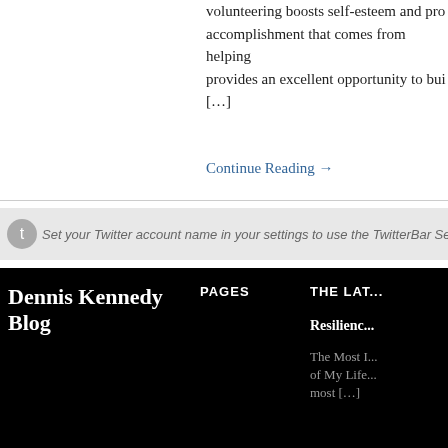volunteering boosts self-esteem and pro... accomplishment that comes from helping... provides an excellent opportunity to bui... [...]
Continue Reading →
Set your Twitter account name in your settings to use the TwitterBar Section.
Dennis Kennedy Blog
PAGES
THE LAT...
Resilienc...
The Most I... of My Life... most [...]